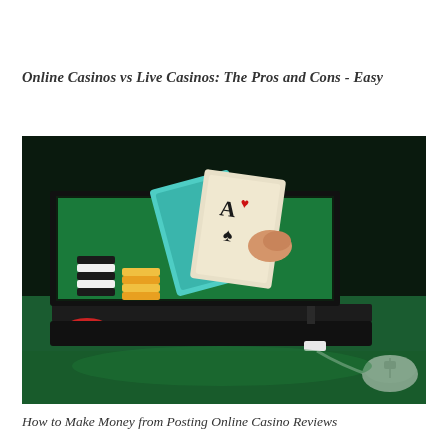Online Casinos vs Live Casinos: The Pros and Cons - Easy
[Figure (photo): A laptop with casino playing cards (two Aces) visible on screen, stacks of casino chips arranged in front of the laptop on a green felt surface, with a white computer mouse connected by cable in the foreground right. Dark background with green lighting.]
How to Make Money from Posting Online Casino Reviews